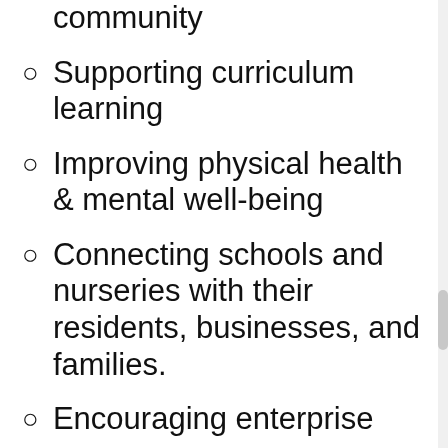community
Supporting curriculum learning
Improving physical health & mental well-being
Connecting schools and nurseries with their residents, businesses, and families.
Encouraging enterprise…